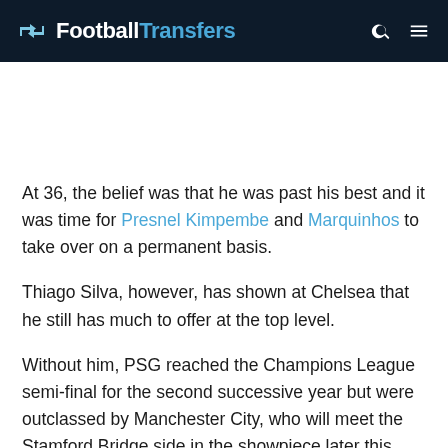FootballTransfers
At 36, the belief was that he was past his best and it was time for Presnel Kimpembe and Marquinhos to take over on a permanent basis.
Thiago Silva, however, has shown at Chelsea that he still has much to offer at the top level.
Without him, PSG reached the Champions League semi-final for the second successive year but were outclassed by Manchester City, who will meet the Stamford Bridge side in the showpiece later this month.